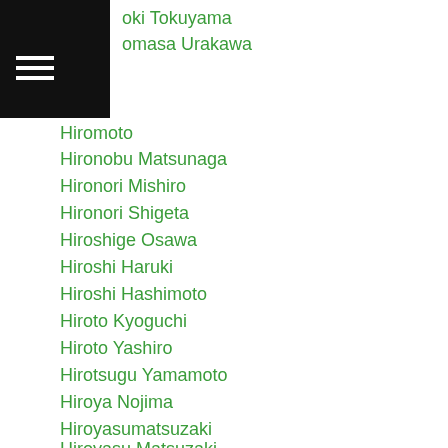oki Tokuyama
omasa Urakawa
Hiromoto
Hironobu Matsunaga
Hironori Mishiro
Hironori Shigeta
Hiroshige Osawa
Hiroshi Haruki
Hiroshi Hashimoto
Hiroto Kyoguchi
Hiroto Yashiro
Hirotsugu Yamamoto
Hiroya Nojima
Hiroyasumatsuzaki
Hiroyasu Matsuzaki
Yamamoto
[Figure (screenshot): Advertisement banner for Tally app: 'Fast credit card payoff' with Download Now button]